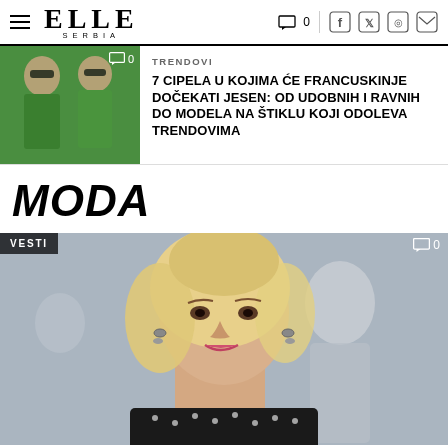ELLE SERBIA
[Figure (photo): Two women in green outfits with sunglasses, fashion street style photo, thumbnail for article]
TRENDOVI
7 CIPELA U KOJIMA ĆE FRANCUSKINJE DOČEKATI JESEN: OD UDOBNIH I RAVNIH DO MODELA NA ŠTIKLU KOJI ODOLEVA TRENDOVIMA
MODA
[Figure (photo): Blonde woman smiling at an event, wearing a black dotted outfit with drop earrings, blurred background with people]
VESTI